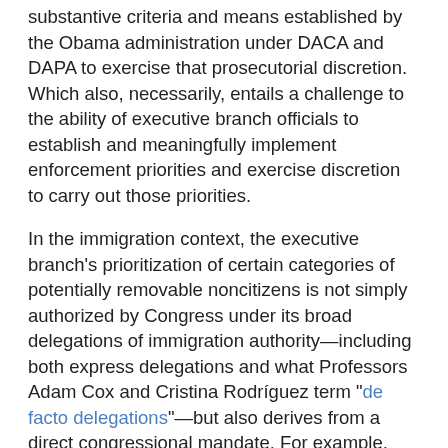substantive criteria and means established by the Obama administration under DACA and DAPA to exercise that prosecutorial discretion. Which also, necessarily, entails a challenge to the ability of executive branch officials to establish and meaningfully implement enforcement priorities and exercise discretion to carry out those priorities.
In the immigration context, the executive branch's prioritization of certain categories of potentially removable noncitizens is not simply authorized by Congress under its broad delegations of immigration authority—including both express delegations and what Professors Adam Cox and Cristina Rodríguez term "de facto delegations"—but also derives from a direct congressional mandate. For example, appropriations legislation in recent years has directed executive officials to prioritize deportation of individuals with convictions for "violent crimes," and of course the resources appropriated by Congress are themselves not sufficient to seek and effectuate removal of more than a fraction of the individuals who are potentially removable under the immigration laws—particularly given the extent to which Congress has dramatically expanded the categories of